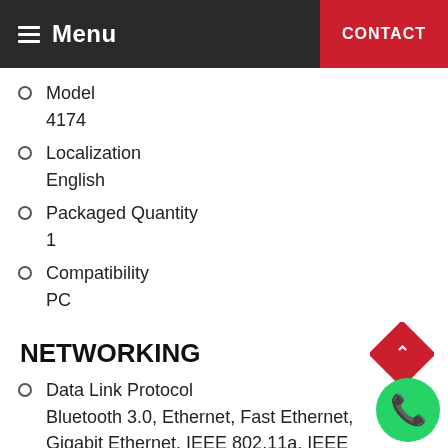Menu   CONTACT
Model
4174
Localization
English
Packaged Quantity
1
Compatibility
PC
NETWORKING
Data Link Protocol
Bluetooth 3.0, Ethernet, Fast Ethernet, Gigabit Ethernet, IEEE 802.11a, IEEE 802.11b, IEEE 802.11g, IEEE 802.11n
Wireless LAN Supported
Yes